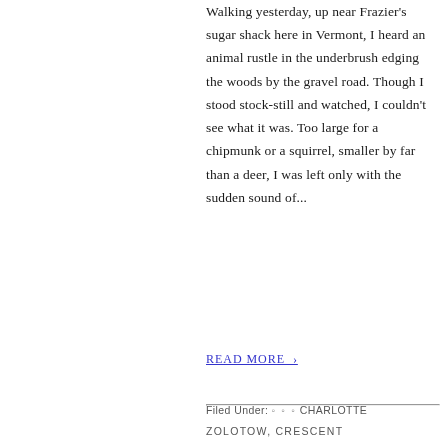Walking yesterday, up near Frazier's sugar shack here in Vermont, I heard an animal rustle in the underbrush edging the woods by the gravel road. Though I stood stock-still and watched, I couldn't see what it was. Too large for a chipmunk or a squirrel, smaller by far than a deer, I was left only with the sudden sound of...
READ MORE ›
Filed Under: CHARLOTTE ZOLOTOW, CRESCENT